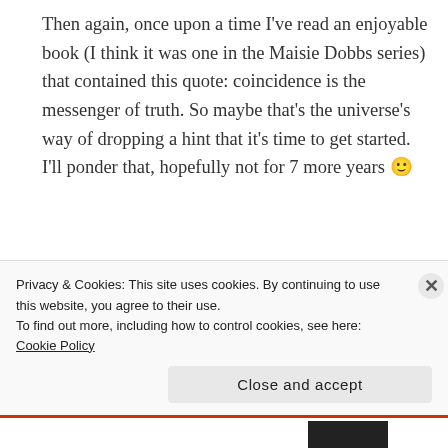Then again, once upon a time I've read an enjoyable book (I think it was one in the Maisie Dobbs series) that contained this quote: coincidence is the messenger of truth. So maybe that's the universe's way of dropping a hint that it's time to get started. I'll ponder that, hopefully not for 7 more years 🙂
★ Like
Privacy & Cookies: This site uses cookies. By continuing to use this website, you agree to their use.
To find out more, including how to control cookies, see here: Cookie Policy
Close and accept